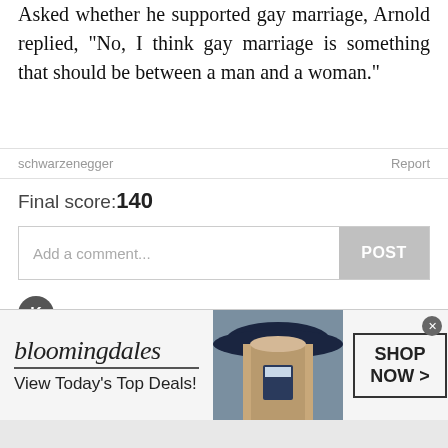Asked whether he supported gay marriage, Arnold replied, "No, I think gay marriage is something that should be between a man and a woman."
schwarzenegger
Report
Final score:140
Add a comment...
POST
Komal Aprajita Pandey  2 years ago (edited)
gay = happy over here
93  Reply
View More Replies...
View more comments
[Figure (screenshot): Bloomingdales advertisement banner showing logo, 'View Today's Top Deals!' text, woman with hat, and 'SHOP NOW >' button]